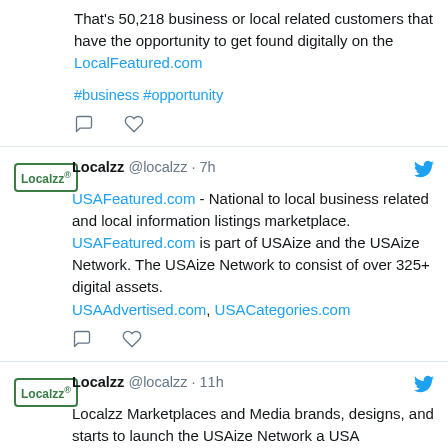That's 50,218 business or local related customers that have the opportunity to get found digitally on the LocalFeatured.com
#business #opportunity
Localzz @localzz · 7h
USAFeatured.com - National to local business related and local information listings marketplace. USAFeatured.com is part of USAize and the USAize Network. The USAize Network to consist of over 325+ digital assets. USAAdvertised.com, USACategories.com
Localzz @localzz · 11h
Localzz Marketplaces and Media brands, designs, and starts to launch the USAize Network a USA information ecosystem with a portfolio of over 325+ digital assets.